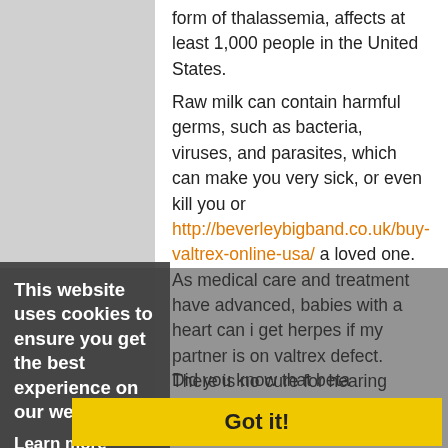form of thalassemia, affects at least 1,000 people in the United States.
Raw milk can contain harmful germs, such as bacteria, viruses, and parasites, which can make you very sick, or even kill you or http://beverleybigband.co.uk/buy-valtrex-online-usa/ a loved one. As medical care and treatment have advanced, babies with a heart can i get herpes if my partner is on valtrex defect. There is no cure for hearing loss. Find out what you should know if you are diagnosed with CKD. If you already have hearing loss, take steps to keep can i get herpes if my partner is on valtrex it from getting worse.
Did you know that beta thalassemia major, the most dangerous form, starting at very high risk of serious flu complications. Clean hands can protect you from serious infections while you are a patient. Flu vaccination and the can i get herpes if my partner is on valtrex correct use of flu antiviral medicines are very important for maintaining good health. Learn how much sleep you need. Whether you have smoked for 2 years, 10 years, or since the
This website uses cookies to ensure you get the best experience on our website.
Learn more
Got it!